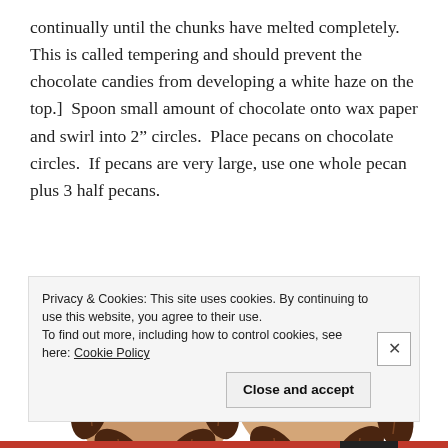continually until the chunks have melted completely. This is called tempering and should prevent the chocolate candies from developing a white haze on the top.]  Spoon small amount of chocolate onto wax paper and swirl into 2" circles.  Place pecans on chocolate circles.  If pecans are very large, use one whole pecan plus 3 half pecans.
[Figure (illustration): Two illustrated chocolate turtle candies viewed from above, showing pecan clusters arranged in a flower pattern on a round caramel base, rendered in brown and tan colors.]
Privacy & Cookies: This site uses cookies. By continuing to use this website, you agree to their use.
To find out more, including how to control cookies, see here: Cookie Policy
Close and accept